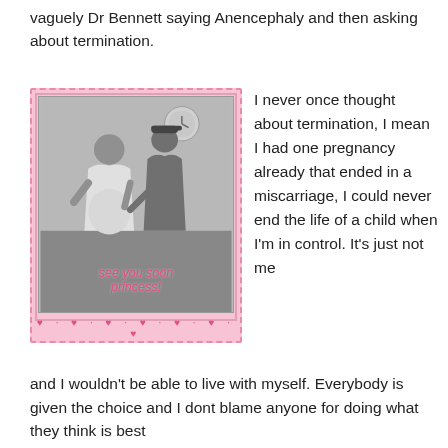vaguely Dr Bennett saying Anencephaly and then asking about termination.
[Figure (photo): Black and white photo of a pregnant couple with text overlay 'see you soon princess!' in pink cursive. The photo has a pink decorative frame with hearts along the bottom.]
I never once thought about termination, I mean I had one pregnancy already that ended in a miscarriage, I could never end the life of a child when I'm in control. It's just not me and I wouldn't be able to live with myself. Everybody is given the choice and I dont blame anyone for doing what they think is best for themselves/ their baby.